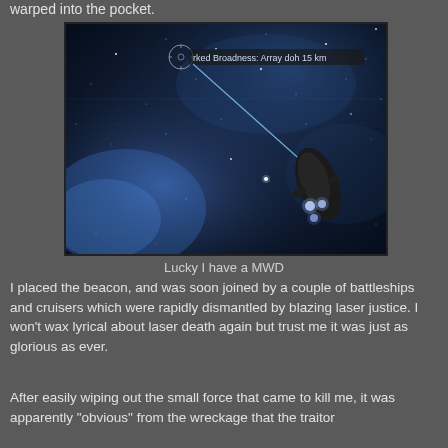warped into the pocket.
[Figure (screenshot): EVE Online game screenshot showing a spaceship in space with a blue nebula background. A targeting reticle and laser beam are visible. HUD text reads: 'rked Broadness: Array doh 15 km']
Lucky I have a MWD
I placed the beacon, and was soon joined by a couple of battleships and cruisers which were rapidly dismantled by blazing laser justice. I won't wax lyrical about laser death again but trust me it was just as glorious as ever.
After easily wiping out the small force that came to kill me, it was apparently "obvious" from the wreckage that the traitor